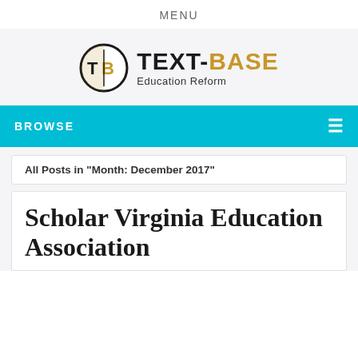MENU
[Figure (logo): Text-Base Education Reform logo with circular TB icon and bold wordmark]
BROWSE
All Posts in "Month: December 2017"
Scholar Virginia Education Association